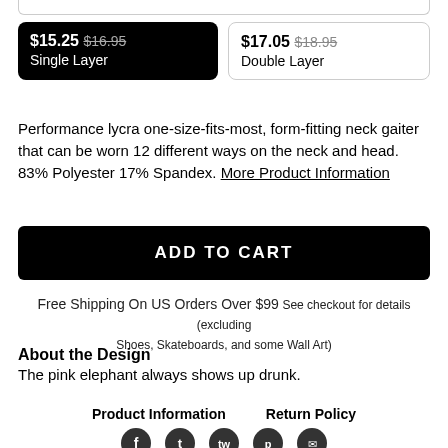$15.25 $16.95 Single Layer
$17.05 $18.95 Double Layer
Performance lycra one-size-fits-most, form-fitting neck gaiter that can be worn 12 different ways on the neck and head. 83% Polyester 17% Spandex. More Product Information
ADD TO CART
Free Shipping On US Orders Over $99 See checkout for details (excluding Shoes, Skateboards, and some Wall Art)
About the Design
The pink elephant always shows up drunk.
Product Information   Return Policy